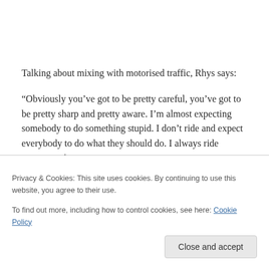Talking about mixing with motorised traffic, Rhys says:
“Obviously you’ve got to be pretty careful, you’ve got to be pretty sharp and pretty aware. I’m almost expecting somebody to do something stupid. I don’t ride and expect everybody to do what they should do. I always ride expecting they are going to get in my way or I am going to get in their way… It’s not the best thing. It’s not what
Privacy & Cookies: This site uses cookies. By continuing to use this website, you agree to their use.
To find out more, including how to control cookies, see here: Cookie Policy